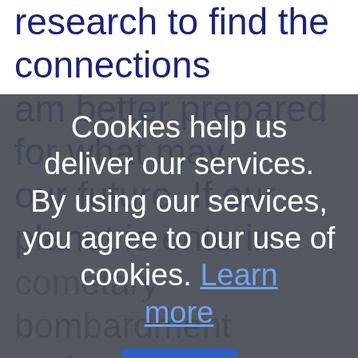research to find the connections am better prepared for what may our future. If our planet is entering cometary bombardment cycle...
Cookies help us deliver our services. By using our services, you agree to our use of cookies. Learn more
OK